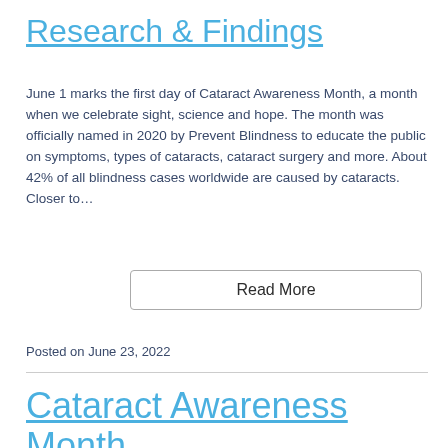Research & Findings
June 1 marks the first day of Cataract Awareness Month, a month when we celebrate sight, science and hope. The month was officially named in 2020 by Prevent Blindness to educate the public on symptoms, types of cataracts, cataract surgery and more. About 42% of all blindness cases worldwide are caused by cataracts. Closer to…
Read More
Posted on June 23, 2022
Cataract Awareness Month